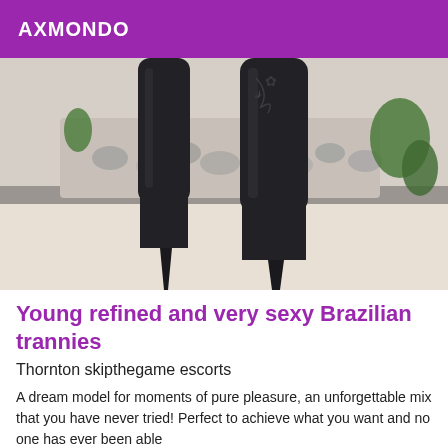AXMONDO
[Figure (photo): Close-up photograph of a person's legs wearing knee-high black stiletto boots, standing on white tiled steps with a decorative rock garden and tropical plants in the background.]
Young refined and very sexy Brazilian trannies
Thornton skipthegame escorts
A dream model for moments of pure pleasure, an unforgettable mix that you have never tried! Perfect to achieve what you want and no one has ever been able